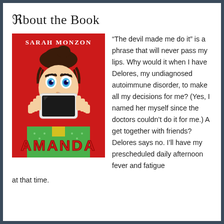About the Book
[Figure (illustration): Book cover for 'Amanda' by Sarah Monzon. Red background with an illustrated woman with dark hair in a bun holding a smartphone up to cover her mouth, with large expressive blue eyes. The title 'AMANDA' appears in large red letters at the bottom and 'Sarah Monzon' at the top.]
“The devil made me do it” is a phrase that will never pass my lips. Why would it when I have Delores, my undiagnosed autoimmune disorder, to make all my decisions for me? (Yes, I named her myself since the doctors couldn’t do it for me.) A get together with friends? Delores says no. I’ll have my prescheduled daily afternoon fever and fatigue at that time.